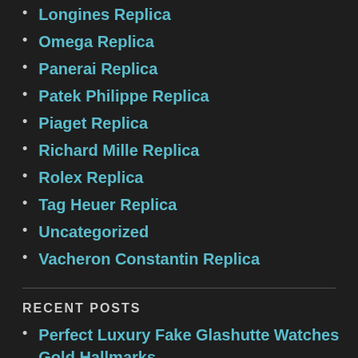Longines Replica
Omega Replica
Panerai Replica
Patek Philippe Replica
Piaget Replica
Richard Mille Replica
Rolex Replica
Tag Heuer Replica
Uncategorized
Vacheron Constantin Replica
RECENT POSTS
Perfect Luxury Fake Glashutte Watches Gold Hallmarks